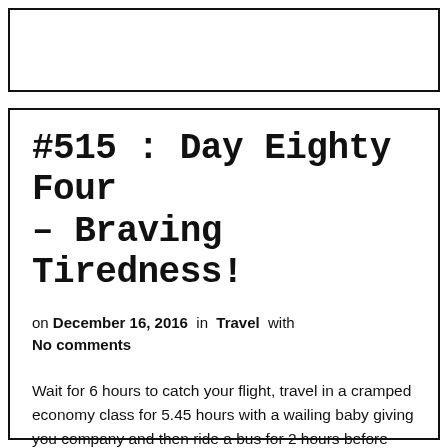[Figure (other): Empty white box with black border at top of page]
#515 : Day Eighty Four – Braving Tiredness!
on December 16, 2016 in Travel with No comments
Wait for 6 hours to catch your flight, travel in a cramped economy class for 5.45 hours with a wailing baby giving you company and then ride a bus for 2 hours before reaching the hotel – That's how my vacation kicked off. Oh I forgot, the airline decided that they